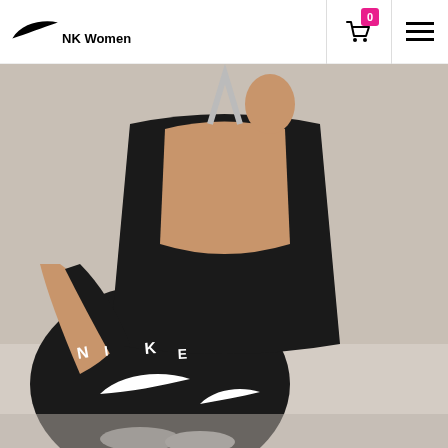NK Women
[Figure (photo): Woman sitting in athletic pose from behind, wearing black Nike racerback tank top and black Nike leggings with swoosh logos visible on the legs, against a light background]